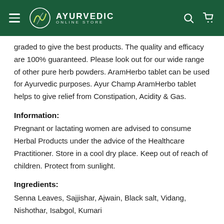Ayurvedic Online Store
graded to give the best products. The quality and efficacy are 100% guaranteed. Please look out for our wide range of other pure herb powders. AramHerbo tablet can be used for Ayurvedic purposes. Ayur Champ AramHerbo tablet helps to give relief from Constipation, Acidity & Gas.
Information:
Pregnant or lactating women are advised to consume Herbal Products under the advice of the Healthcare Practitioner. Store in a cool dry place. Keep out of reach of children. Protect from sunlight.
Ingredients:
Senna Leaves, Sajjishar, Ajwain, Black salt, Vidang, Nishothar, Isabgol, Kumari
Di...